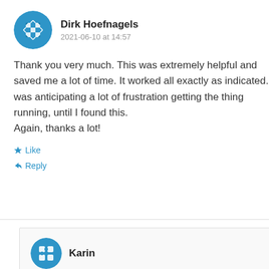[Figure (illustration): Blue circular avatar icon with geometric pattern (Dirk Hoefnagels)]
Dirk Hoefnagels
2021-06-10 at 14:57
Thank you very much. This was extremely helpful and saved me a lot of time. It worked all exactly as indicated. I was anticipating a lot of frustration getting the thing running, until I found this.
Again, thanks a lot!
★ Like
↳ Reply
[Figure (illustration): Blue circular avatar icon with puzzle-piece pattern (Karin)]
Karin